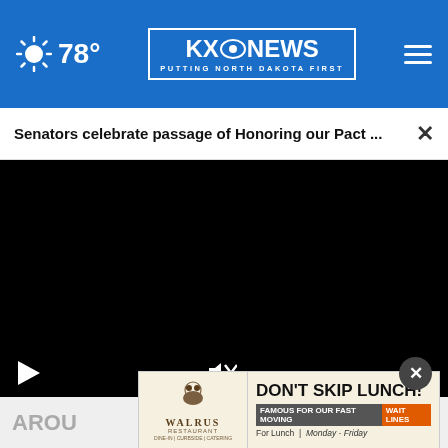78° KXO NEWS PUTTING NORTH DAKOTA FIRST
Senators celebrate passage of Honoring our Pact ...
[Figure (screenshot): Black video player with play button, mute button, and fullscreen button controls at bottom]
AROUND
[Figure (logo): Taboola sponsored content logo (green leaf shape)]
[Figure (illustration): Walrus Restaurant advertisement: DON'T SKIP LUNCH! FAMOUS FOR OUR FAST MOVING WAIT LINES For Lunch | Monday - Friday]